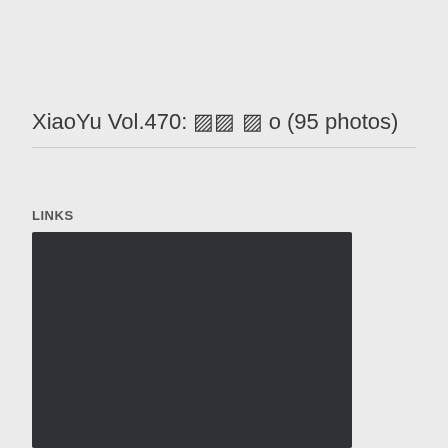XiaoYu Vol.470: ▨▨ ▨ o (95 photos)
LINKS
[Figure (other): Dark rectangular panel, appears to be an embedded media player or link preview block with dark background (#2f3136)]